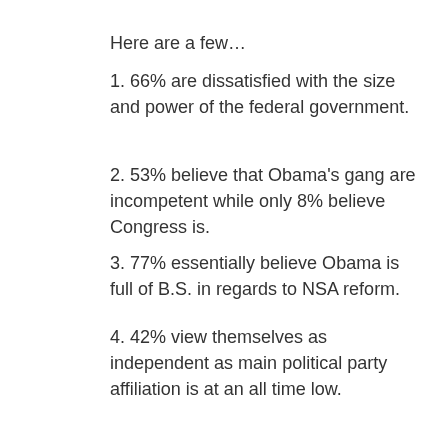Here are a few…
1. 66% are dissatisfied with the size and power of the federal government.
2. 53% believe that Obama's gang are incompetent while only 8% believe Congress is.
3. 77% essentially believe Obama is full of B.S. in regards to NSA reform.
4. 42% view themselves as independent as main political party affiliation is at an all time low.
Next…
Magnetic Wheaties
https://www.youtube.com
Wheaties breakfast cereal has been found to contain so many iron filings that the flakes can be